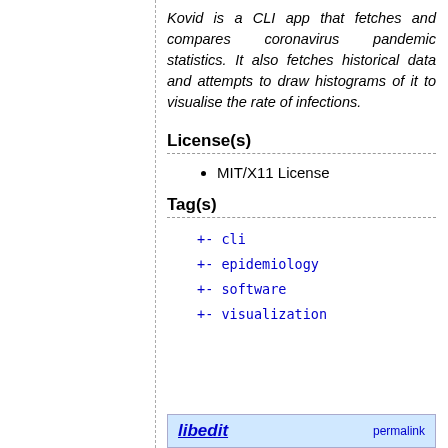Kovid is a CLI app that fetches and compares coronavirus pandemic statistics. It also fetches historical data and attempts to draw histograms of it to visualise the rate of infections.
License(s)
MIT/X11 License
Tag(s)
+- cli
+- epidemiology
+- software
+- visualization
libedit   permalink